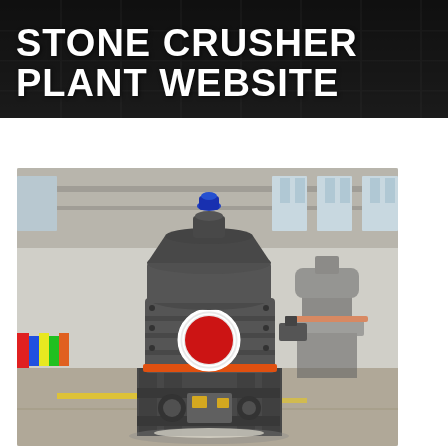STONE CRUSHER PLANT WEBSITE
[Figure (photo): Industrial stone crusher machine (cone crusher) displayed in a factory/warehouse setting. The machine is dark grey with orange and red accents, featuring a cylindrical body mounted on a metal frame structure, with a blue motor on top. A similar machine is visible in the background. The floor has yellow safety markings.]